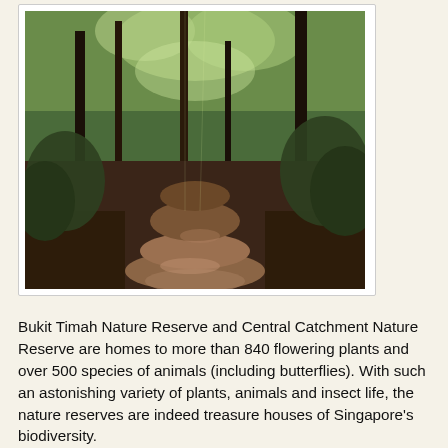[Figure (photo): Forest trail path through Bukit Timah Nature Reserve with tall trees and dappled sunlight on a dirt path]
Bukit Timah Nature Reserve and Central Catchment Nature Reserve are homes to more than 840 flowering plants and over 500 species of animals (including butterflies). With such an astonishing variety of plants, animals and insect life, the nature reserves are indeed treasure houses of Singapore's biodiversity.
[Figure (photo): Close-up of leaves and plant life on the forest floor, showing green foliage and fallen leaves]